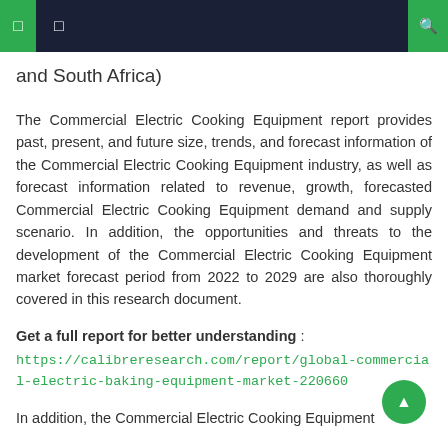navigation header bar
and South Africa)
The Commercial Electric Cooking Equipment report provides past, present, and future size, trends, and forecast information of the Commercial Electric Cooking Equipment industry, as well as forecast information related to revenue, growth, forecasted Commercial Electric Cooking Equipment demand and supply scenario. In addition, the opportunities and threats to the development of the Commercial Electric Cooking Equipment market forecast period from 2022 to 2029 are also thoroughly covered in this research document.
Get a full report for better understanding : https://calibreresearch.com/report/global-commercial-electric-baking-equipment-market-220660
In addition, the Commercial Electric Cooking Equipment